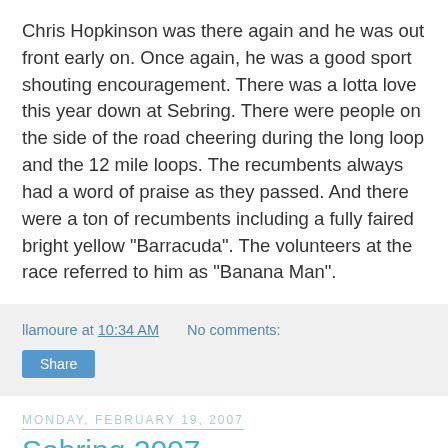Chris Hopkinson was there again and he was out front early on. Once again, he was a good sport shouting encouragement. There was a lotta love this year down at Sebring. There were people on the side of the road cheering during the long loop and the 12 mile loops. The recumbents always had a word of praise as they passed. And there were a ton of recumbents including a fully faired bright yellow "Barracuda". The volunteers at the race referred to him as "Banana Man".
llamoure at 10:34 AM   No comments:
Share
Monday, February 19, 2007
Sebring 2007
My Dad and I drove down to Sebring (Thursday into Friday) using his Prius, which took about half the gas that my Escape would have used to make the same trip. We got two